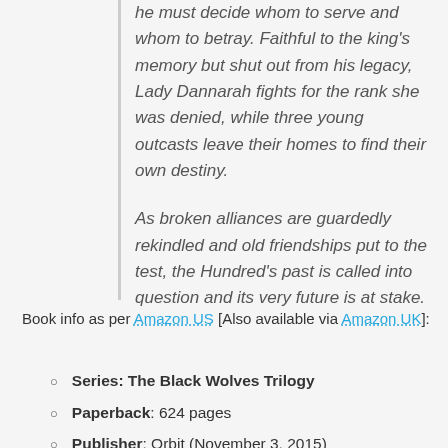he must decide whom to serve and whom to betray. Faithful to the king's memory but shut out from his legacy, Lady Dannarah fights for the rank she was denied, while three young outcasts leave their homes to find their own destiny.
As broken alliances are guardedly rekindled and old friendships put to the test, the Hundred's past is called into question and its very future is at stake.
Book info as per Amazon US [Also available via Amazon UK]:
Series: The Black Wolves Trilogy
Paperback: 624 pages
Publisher: Orbit (November 3, 2015)